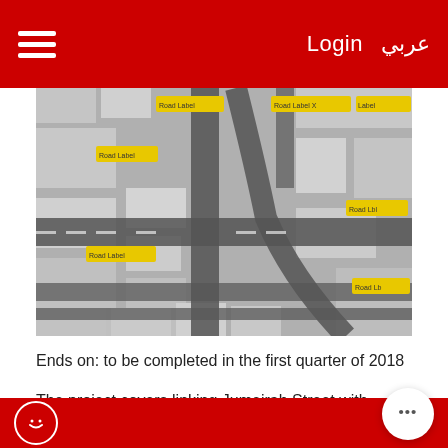عربي  Login
[Figure (photo): Aerial/3D rendered view of a road interchange project showing multiple intersecting roads and streets with yellow labels, in a grey urban setting.]
Ends on: to be completed in the first quarter of 2018
The project covers linking Jumeirah Street with Al Kh… Road and parallel roads